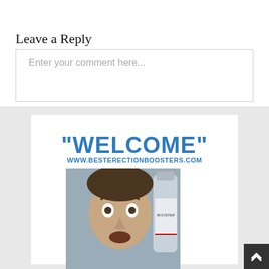Leave a Reply
Enter your comment here...
[Figure (illustration): Advertisement banner showing "WELCOME" text in large blue bold font, URL www.besterectionboosters.com, and a photo of a man with wide eyes holding a bottle]